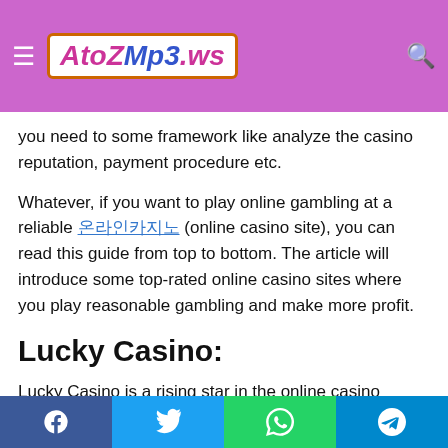AtozMp3.ws — site header with hamburger menu and search icon
people are frequently encountered lots of fraud casino sites. Since they want to use a trusted casino platform, they fall into the trap and lose their money. Before playing at an online casino, you need to some framework like analyze the casino reputation, payment procedure etc.
Whatever, if you want to play online gambling at a reliable 온라인카지노 (online casino site), you can read this guide from top to bottom. The article will introduce some top-rated online casino sites where you play reasonable gambling and make more profit.
Lucky Casino:
Lucky Casino is a rising star in the online casino industry, founded in 2019 and launched by the founders of the leading
Facebook | Twitter | WhatsApp | Telegram